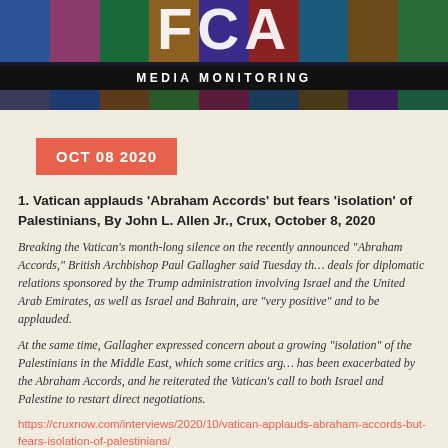[Figure (illustration): FCA Media Monitoring header banner with mosaic background of TV screens, white 'FCA' large text, black 'MEDIA MONITORING' bar, and bottom strip of screen images]
OCT 08 2020
1. Vatican applauds ‘Abraham Accords’ but fears ‘isolation’ of Palestinians, By John L. Allen Jr., Crux, October 8, 2020
Breaking the Vatican’s month-long silence on the recently announced “Abraham Accords,” British Archbishop Paul Gallagher said Tuesday that deals for diplomatic relations sponsored by the Trump administration involving Israel and the United Arab Emirates, as well as Israel and Bahrain, are “very positive” and to be applauded.
At the same time, Gallagher expressed concern about a growing “isolation” of the Palestinians in the Middle East, which some critics argue has been exacerbated by the Abraham Accords, and he reiterated the Vatican’s call to both Israel and Palestine to restart direct negotiations.
https://cruxnow.com/interviews/2020/10/vatican-applauds-abraham-accords-but-fears-isolation-of-palestinians/